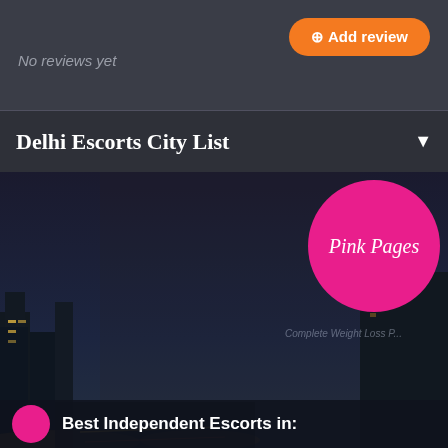No reviews yet
Add review
Delhi Escorts City List
[Figure (photo): A woman in a floral off-shoulder top posed against a nighttime city skyline backdrop. A pink circle with 'Pink Pages' text is in the upper right. Text at bottom reads 'Best Independent Escorts in:']
Best Independent Escorts in: